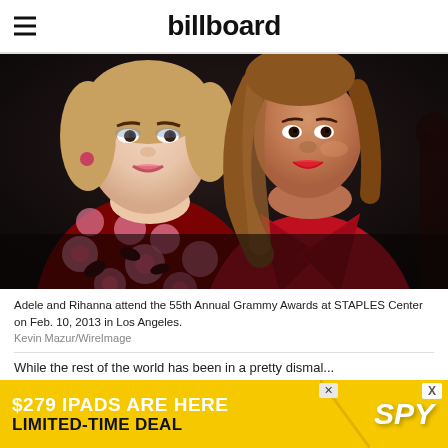billboard
[Figure (photo): Adele and Rihanna posing together at an event; Adele in a floral red/black dress on the left, Rihanna in a red dress on the right, dark background]
Adele and Rihanna attend the 55th Annual Grammy Awards at STAPLES Center on Feb. 10, 2013 in Los Angeles.
Kevin Mazur/WireImage
While the rest of the world has been in a pretty dismal...
[Figure (infographic): Advertisement banner: '$279 IPADS ARE HERE / LIMITED-TIME DEAL' with SPY logo on yellow background]